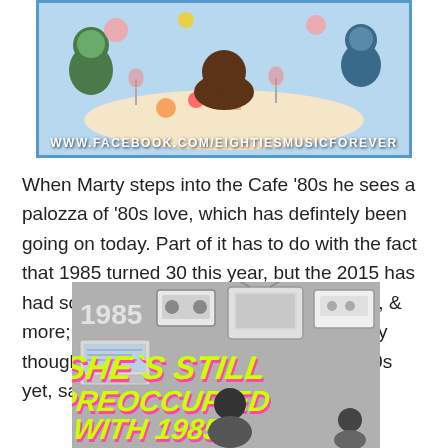[Figure (illustration): Cartoon illustration of people dining at Cafe '80s with a Facebook URL watermark: www.facebook.com/eightiesmusixforever]
When Marty steps into the Cafe '80s he sees a palozza of '80s love, which has defintely been going on today. Part of it has to do with the fact that 1985 turned 30 this year, but the 2015 has had some serious '80s love in film; fashion, & more; it is clear we are just as gaga as they thought we would be. Although no Cafe '80s yet, sadly.
[Figure (illustration): Graphic with text 'SHE'S STILL PREOCCUPIED WITH 1985' in neon green and pink retro font, with VHS tape, TV, cassette tape and computer illustrations on gray background, '1985' shown in top left corner.]